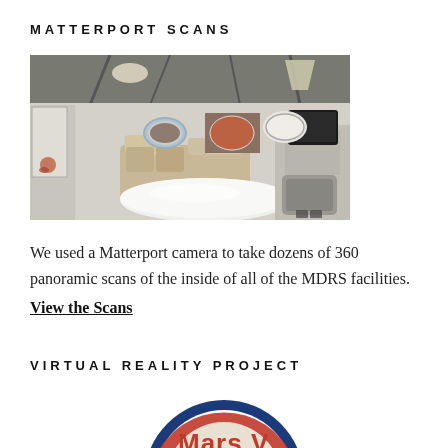MATTERPORT SCANS
[Figure (photo): Interior panoramic photo of MDRS facility showing circular room with domed ceiling, sofas, table, porthole windows, TV monitor on wall, and equipment]
We used a Matterport camera to take dozens of 360 panoramic scans of the inside of all of the MDRS facilities.
View the Scans
VIRTUAL REALITY PROJECT
[Figure (logo): Mars VR logo — partial view showing red and blue circular logo with text 'Mars V...']